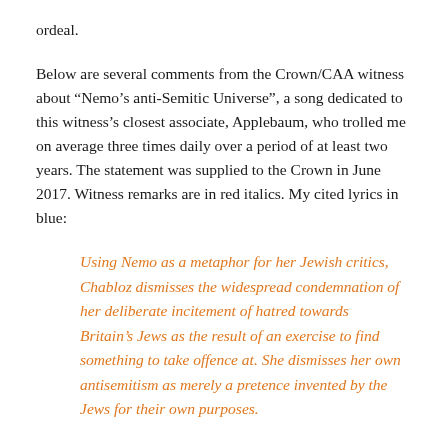ordeal.
Below are several comments from the Crown/CAA witness about “Nemo’s anti-Semitic Universe”, a song dedicated to this witness’s closest associate, Applebaum, who trolled me on average three times daily over a period of at least two years. The statement was supplied to the Crown in June 2017. Witness remarks are in red italics. My cited lyrics in blue:
Using Nemo as a metaphor for her Jewish critics, Chabloz dismisses the widespread condemnation of her deliberate incitement of hatred towards Britain’s Jews as the result of an exercise to find something to take offence at. She dismisses her own antisemitism as merely a pretence invented by the Jews for their own purposes.